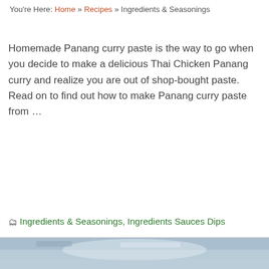You're Here: Home » Recipes » Ingredients & Seasonings
Homemade Panang curry paste is the way to go when you decide to make a delicious Thai Chicken Panang curry and realize you are out of shop-bought paste. Read on to find out how to make Panang curry paste from …
Read More
Ingredients & Seasonings, Ingredients Sauces Dips
[Figure (photo): Bottom strip showing a partial photo, appearing to be a food or cooking related image with blue and white tones]